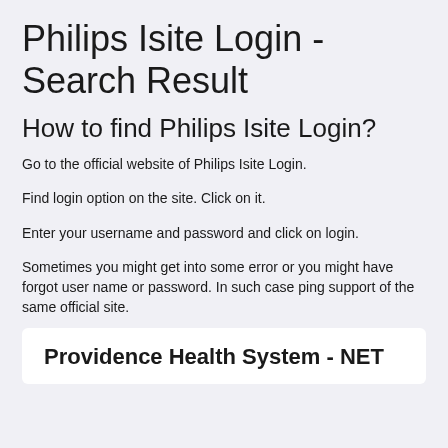Philips Isite Login - Search Result
How to find Philips Isite Login?
Go to the official website of Philips Isite Login.
Find login option on the site. Click on it.
Enter your username and password and click on login.
Sometimes you might get into some error or you might have forgot user name or password. In such case ping support of the same official site.
Providence Health System - NET